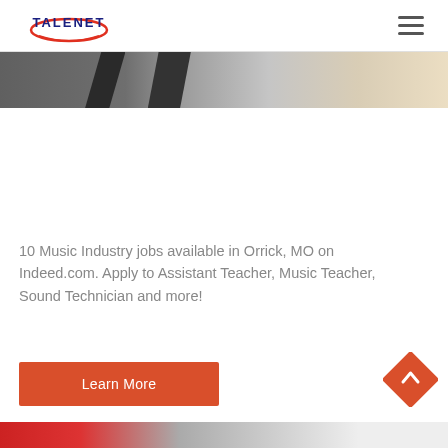TALENET
[Figure (photo): Partial photo of people or objects visible at the top of the page, partially cropped]
10 Music Industry jobs available in Orrick, MO on Indeed.com. Apply to Assistant Teacher, Music Teacher, Sound Technician and more!
Learn More
[Figure (illustration): Orange diamond-shaped back-to-top button with a white upward arrow chevron]
[Figure (photo): Partial photo visible at the bottom of the page, partially cropped, showing red and teal/cyan colors]